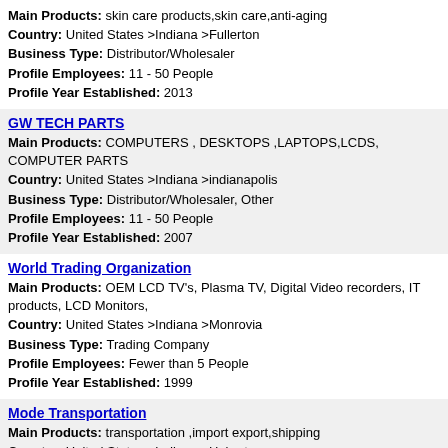Main Products: skin care products,skin care,anti-aging
Country: United States >Indiana >Fullerton
Business Type: Distributor/Wholesaler
Profile Employees: 11 - 50 People
Profile Year Established: 2013
GW TECH PARTS
Main Products: COMPUTERS , DESKTOPS ,LAPTOPS,LCDS, COMPUTER PARTS
Country: United States >Indiana >indianapolis
Business Type: Distributor/Wholesaler, Other
Profile Employees: 11 - 50 People
Profile Year Established: 2007
World Trading Organization
Main Products: OEM LCD TV's, Plasma TV, Digital Video recorders, IT products, LCD Monitors,
Country: United States >Indiana >Monrovia
Business Type: Trading Company
Profile Employees: Fewer than 5 People
Profile Year Established: 1999
Mode Transportation
Main Products: transportation ,import export,shipping
Country: United States >Indiana >Hobart
Business Type: Business Service (Transportation, finance, travel, Ads, etc)
Profile Employees: 5 - 10 People
Profile Year Established: 1990